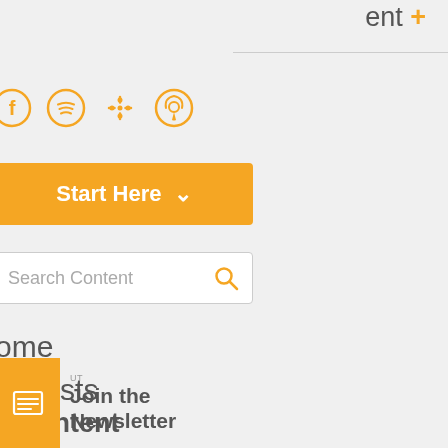ent +
[Figure (screenshot): Navigation menu UI showing social media icons (Facebook, Spotify, Google Podcasts, Apple Podcasts), a Start Here dropdown button, a Search Content input field, nav links (Home, Podcasts, All Content), and a Join the Newsletter widget]
ome
odcasts
ll Content
Join the Newsletter